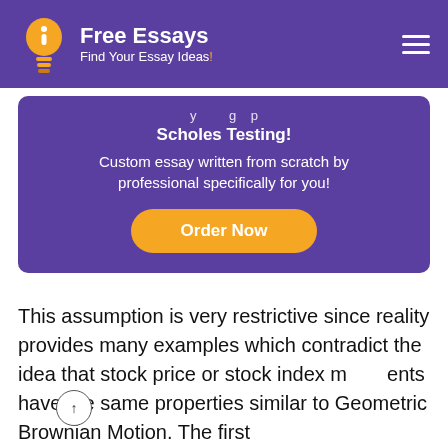Free Essays – Find Your Essay Ideas!
[Figure (infographic): Promotional banner with purple background. Text: 'Scholes Testing! Custom essay written from scratch by professional specifically for you!' with an orange 'Order Now' button.]
This assumption is very restrictive since reality provides many examples which contradict the idea that stock price or stock index moments have the same properties similar to Geometric Brownian Motion. The first